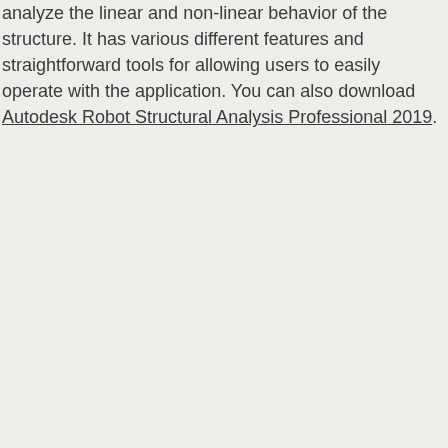analyze the linear and non-linear behavior of the structure. It has various different features and straightforward tools for allowing users to easily operate with the application. You can also download Autodesk Robot Structural Analysis Professional 2019.